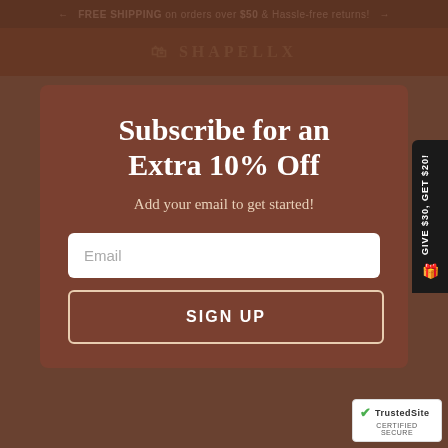FREE SHIPPING on orders over $50 & Hassle-free returns!
SHAPELLX
Subscribe for an Extra 10% Off
Add your email to get started!
Email
SIGN UP
[Figure (other): TrustedSite Certified Secure badge]
GIVE $30, GET $20!